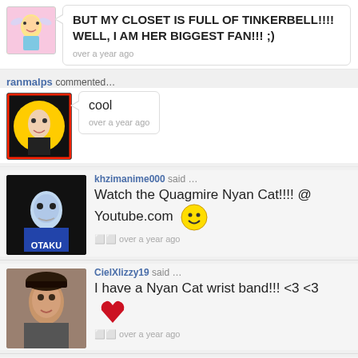[Figure (screenshot): Social media comments section showing user comments about Nyan Cat and Tinkerbell]
BUT MY CLOSET IS FULL OF TINKERBELL!!!! WELL, I AM HER BIGGEST FAN!!! ;)
over a year ago
ranmalps commented…
cool
over a year ago
khzimanime000 said … Watch the Quagmire Nyan Cat!!!! @ Youtube.com
over a year ago
CielXlizzy19 said … I have a Nyan Cat wrist band!!! <3 <3
over a year ago
sydcurl123 said … If uu like this club then uuuu Nyan Cat Rocks link
over a year ago